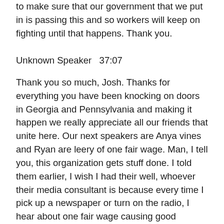to make sure that our government that we put in is passing this and so workers will keep on fighting until that happens. Thank you.
Unknown Speaker  37:07
Thank you so much, Josh. Thanks for everything you have been knocking on doors in Georgia and Pennsylvania and making it happen we really appreciate all our friends that unite here. Our next speakers are Anya vines and Ryan are leery of one fair wage. Man, I tell you, this organization gets stuff done. I told them earlier, I wish I had their well, whoever their media consultant is because every time I pick up a newspaper or turn on the radio, I hear about one fair wage causing good trouble. John Lewis always called it. So I want to invite Anya and Ryan up, they're gonna let you know what they're up to express some solidarity with the rest of us and actually give everyone a chance to take